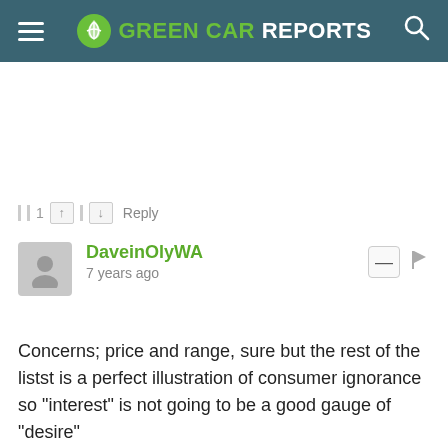Green Car Reports
1 ↑ ↓ Reply
DaveinOlyWA
7 years ago
Concerns; price and range, sure but the rest of the listst is a perfect illustration of consumer ignorance so "interest" is not going to be a good gauge of "desire"

FYI; this site has become so inconvenient to post on, I really don't have the time to watch it load and